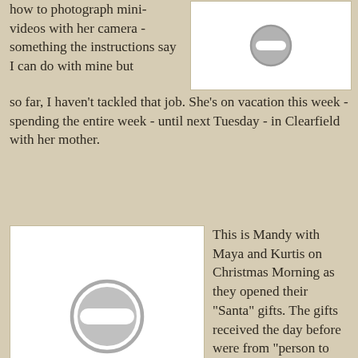how to photograph mini-videos with her camera - something the instructions say I can do with mine but so far, I haven't tackled that job. She's on vacation this week - spending the entire week - until next Tuesday - in Clearfield with her mother.
[Figure (photo): White rectangular photo placeholder with a gray circle/minus icon in upper right area]
[Figure (photo): White rectangular photo placeholder with a gray circle/minus icon in center]
This is Mandy with Maya and Kurtis on Christmas Morning as they opened their "Santa" gifts. The gifts received the day before were from "person to person" -if that makes sense. Christmas Morning, the gifts under the tree then were just for Maya and Kurtis and these were left by "Santa" during the middle of the night sometime. All of this is a variation of what Christmas was like here when I was a kid. There would always be seven children present, plus my